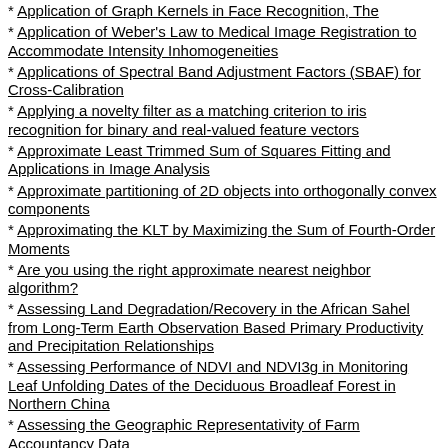Application of Graph Kernels in Face Recognition, The
Application of Weber's Law to Medical Image Registration to Accommodate Intensity Inhomogeneities
Applications of Spectral Band Adjustment Factors (SBAF) for Cross-Calibration
Applying a novelty filter as a matching criterion to iris recognition for binary and real-valued feature vectors
Approximate Least Trimmed Sum of Squares Fitting and Applications in Image Analysis
Approximate partitioning of 2D objects into orthogonally convex components
Approximating the KLT by Maximizing the Sum of Fourth-Order Moments
Are you using the right approximate nearest neighbor algorithm?
Assessing Land Degradation/Recovery in the African Sahel from Long-Term Earth Observation Based Primary Productivity and Precipitation Relationships
Assessing Performance of NDVI and NDVI3g in Monitoring Leaf Unfolding Dates of the Deciduous Broadleaf Forest in Northern China
Assessing the Geographic Representativity of Farm Accountancy Data
Assessment of Spectral Band Impact on Intercalibration Over Desert Sites Using Simulation Based on EO-1 Hyperion Data